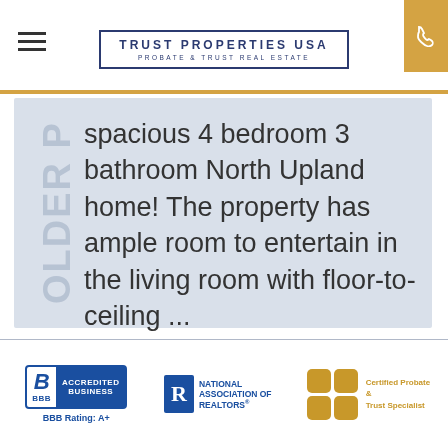[Figure (logo): Trust Properties USA logo with border, hamburger menu, and phone button]
spacious 4 bedroom 3 bathroom North Upland home! The property has ample room to entertain in the living room with floor-to-ceiling ...
[Figure (logo): BBB Accredited Business badge, BBB Rating: A+]
[Figure (logo): National Association of Realtors badge]
[Figure (logo): Certified Probate & Trust Specialist badge with gold squares]